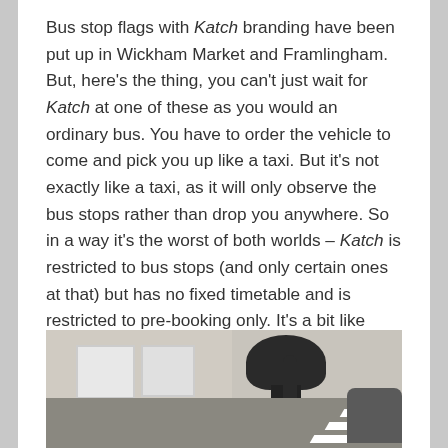Bus stop flags with Katch branding have been put up in Wickham Market and Framlingham. But, here's the thing, you can't just wait for Katch at one of these as you would an ordinary bus. You have to order the vehicle to come and pick you up like a taxi. But it's not exactly like a taxi, as it will only observe the bus stops rather than drop you anywhere. So in a way it's the worst of both worlds – Katch is restricted to bus stops (and only certain ones at that) but has no fixed timetable and is restricted to pre-booking only. It's a bit like Ford's Chariot branded trial in London a couple of years ago.
[Figure (photo): Street-level photo showing a black bollard/post in the foreground, buildings in the background, a pedestrian on the right side, road markings (chevrons/hatching) visible on the road surface, and a parked car on the far right.]